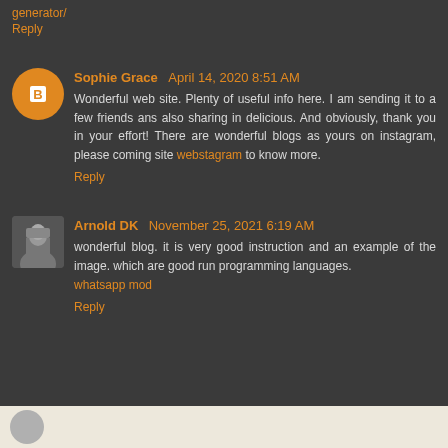generator/
Reply
Sophie Grace  April 14, 2020 8:51 AM
Wonderful web site. Plenty of useful info here. I am sending it to a few friends ans also sharing in delicious. And obviously, thank you in your effort! There are wonderful blogs as yours on instagram, please coming site webstagram to know more.
Reply
Arnold DK  November 25, 2021 6:19 AM
wonderful blog. it is very good instruction and an example of the image. which are good run programming languages. whatsapp mod
Reply